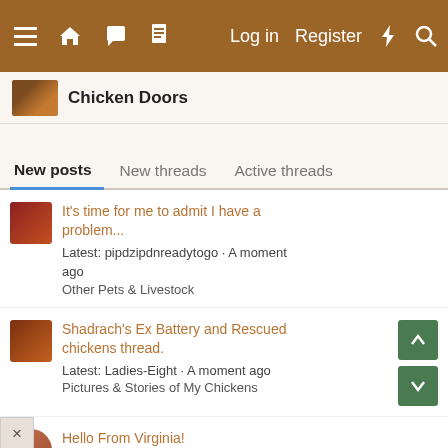Log in  Register
Chicken Doors
New posts  New threads  Active threads
It's time for me to admit I have a problem... Latest: pipdzipdnreadytogo · A moment ago Other Pets & Livestock
Shadrach's Ex Battery and Rescued chickens thread. Latest: Ladies-Eight · A moment ago Pictures & Stories of My Chickens
Hello From Virginia! Latest: Boppo · 1 minute ago New Member Introductions
New to raising chickens lots of...